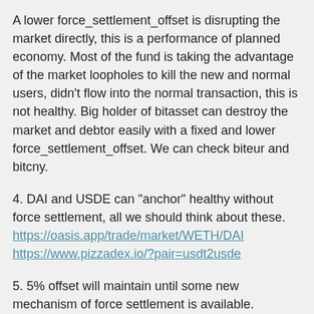A lower force_settlement_offset is disrupting the market directly, this is a performance of planned economy. Most of the fund is taking the advantage of the market loopholes to kill the new and normal users, didn't flow into the normal transaction, this is not healthy. Big holder of bitasset can destroy the market and debtor easily with a fixed and lower force_settlement_offset. We can check biteur and bitcny.
4. DAI and USDE can "anchor" healthy without force settlement, all we should think about these. https://oasis.app/trade/market/WETH/DAI https://www.pizzadex.io/?pair=usdt2usde
5. 5% offset will maintain until some new mechanism of force settlement is available. may be: https://github.com/bitshares/bsips/issues/160 https://github.com/bitshares/bsips/issues/260
6. Why it is 5% not other "parameters", as we have 5%